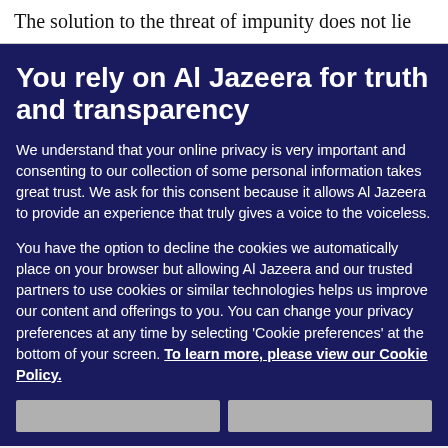The solution to the threat of impunity does not lie
You rely on Al Jazeera for truth and transparency
We understand that your online privacy is very important and consenting to our collection of some personal information takes great trust. We ask for this consent because it allows Al Jazeera to provide an experience that truly gives a voice to the voiceless.
You have the option to decline the cookies we automatically place on your browser but allowing Al Jazeera and our trusted partners to use cookies or similar technologies helps us improve our content and offerings to you. You can change your privacy preferences at any time by selecting 'Cookie preferences' at the bottom of your screen. To learn more, please view our Cookie Policy.